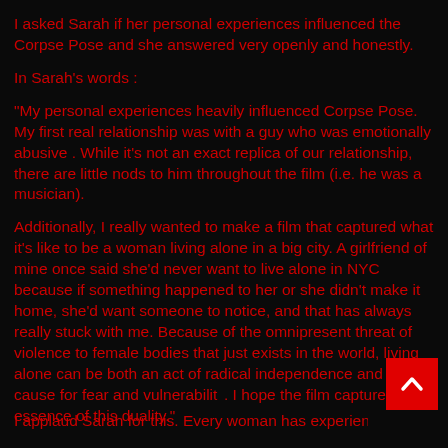I asked Sarah if her personal experiences influenced the Corpse Pose and she answered very openly and honestly.
In Sarah's words :
"My personal experiences heavily influenced Corpse Pose. My first real relationship was with a guy who was emotionally abusive . While it's not an exact replica of our relationship, there are little nods to him throughout the film (i.e. he was a musician).
Additionally, I really wanted to make a film that captured what it's like to be a woman living alone in a big city. A girlfriend of mine once said she'd never want to live alone in NYC because if something happened to her or she didn't make it home, she'd want someone to notice, and that has always really stuck with me. Because of the omnipresent threat of violence to female bodies that just exists in the world, living alone can be both an act of radical independence and a cause for fear and vulnerability. I hope the film captures the essence of this duality."
I applaud Sarah for this. Every woman has experienced...